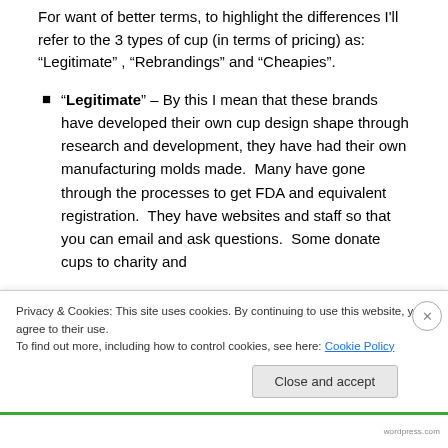For want of better terms, to highlight the differences I'll refer to the 3 types of cup (in terms of pricing) as: “Legitimate” , “Rebrandings” and “Cheapies”.
“Legitimate” – By this I mean that these brands have developed their own cup design shape through research and development, they have had their own manufacturing molds made.  Many have gone through the processes to get FDA and equivalent registration.  They have websites and staff so that you can email and ask questions.  Some donate cups to charity and do advertising to help spread the word about cups (in
Privacy & Cookies: This site uses cookies. By continuing to use this website, you agree to their use.
To find out more, including how to control cookies, see here: Cookie Policy
Close and accept